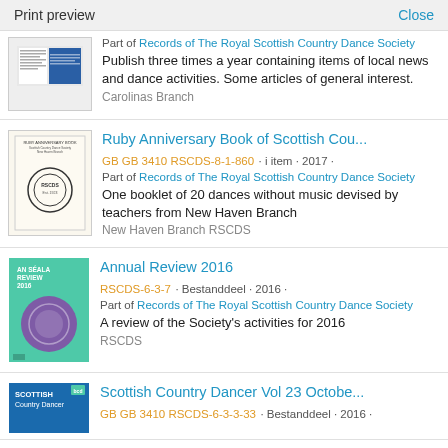Print preview    Close
[Figure (illustration): Thumbnail of a document page with blue section]
Part of Records of The Royal Scottish Country Dance Society
Publish three times a year containing items of local news and dance activities. Some articles of general interest.
Carolinas Branch
[Figure (illustration): Ruby Anniversary Book cover thumbnail with RSCDS crest]
Ruby Anniversary Book of Scottish Cou...
GB GB 3410 RSCDS-8-1-860 · i item · 2017 · Part of Records of The Royal Scottish Country Dance Society
One booklet of 20 dances without music devised by teachers from New Haven Branch
New Haven Branch RSCDS
[Figure (illustration): Annual Review 2016 cover thumbnail - teal/green with purple circle]
Annual Review 2016
RSCDS-6-3-7 · Bestanddeel · 2016 · Part of Records of The Royal Scottish Country Dance Society
A review of the Society's activities for 2016
RSCDS
[Figure (illustration): Scottish Country Dancer Vol 23 cover thumbnail - blue with white text]
Scottish Country Dancer Vol 23 Octobe...
GB GB 3410 RSCDS-6-3-3-33 · Bestanddeel · 2016